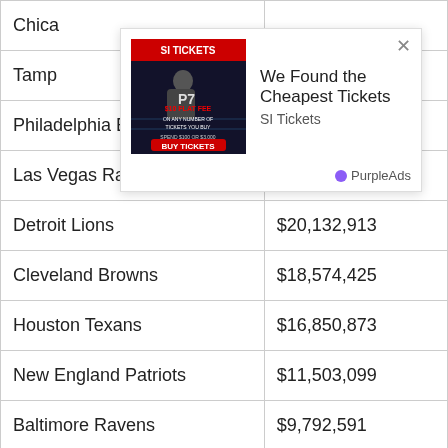| Team | Amount |
| --- | --- |
| Chica[go Bears] |  |
| Tamp[a Bay Buccaneers] |  |
| Philadelphia Eagles | $20,861,126 |
| Las Vegas Raiders | $20,646,588 |
| Detroit Lions | $20,132,913 |
| Cleveland Browns | $18,574,425 |
| Houston Texans | $16,850,873 |
| New England Patriots | $11,503,099 |
| Baltimore Ravens | $9,792,591 |
| San Franciso 49ers | $2,952,032 |
[Figure (other): Advertisement overlay for SI Tickets - 'We Found the Cheapest Tickets' with PurpleAds branding]